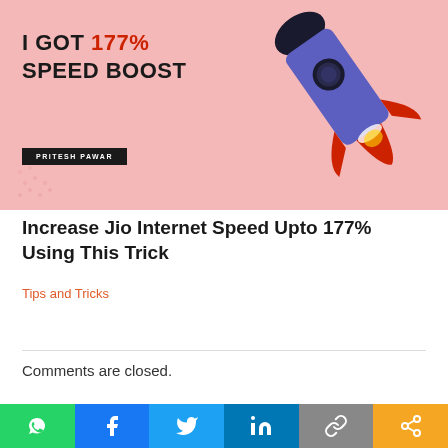[Figure (illustration): Promotional banner with pink/salmon background, 3D rocket illustration on the right, bold text 'I GOT 177% SPEED BOOST' on the left, and an author tag 'PRITESH PAWAR' in a dark box.]
Increase Jio Internet Speed Upto 177% Using This Trick
Tips and Tricks
Comments are closed.
Let's Connect? :)